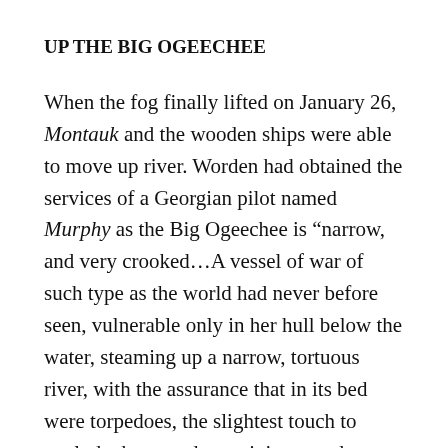UP THE BIG OGEECHEE
When the fog finally lifted on January 26, Montauk and the wooden ships were able to move up river. Worden had obtained the services of a Georgian pilot named Murphy as the Big Ogeechee is “narrow, and very crooked…A vessel of war of such type as the world had never before seen, vulnerable only in her hull below the water, steaming up a narrow, tortuous river, with the assurance that in its bed were torpedoes, the slightest touch to explode them, and containing powder sufficient to destroy a